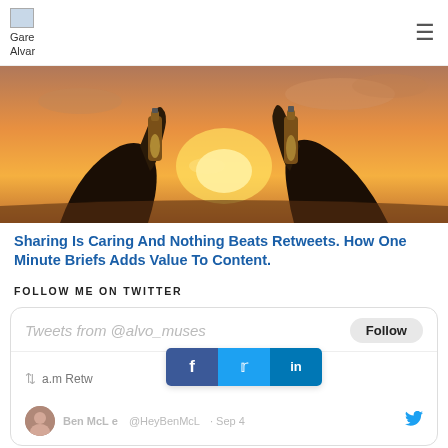Gare Alvar
[Figure (photo): Two people clinking beer bottles against a sunset sky background]
Sharing Is Caring And Nothing Beats Retweets. How One Minute Briefs Adds Value To Content.
FOLLOW ME ON TWITTER
[Figure (screenshot): Twitter widget showing Tweets from @alvo_muses with a Follow button, retweet activity, and partial tweet from Ben McL @HeyBenMcL Sep 4, with social sharing bar showing Facebook, Twitter, LinkedIn buttons]